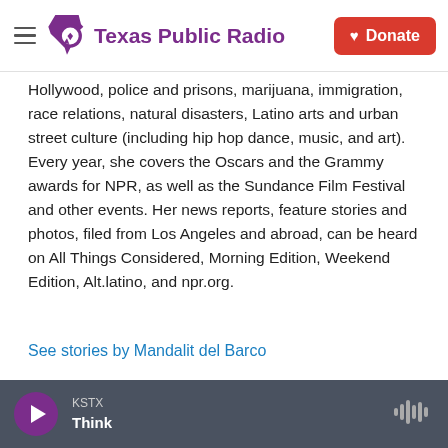Texas Public Radio — Donate
Hollywood, police and prisons, marijuana, immigration, race relations, natural disasters, Latino arts and urban street culture (including hip hop dance, music, and art). Every year, she covers the Oscars and the Grammy awards for NPR, as well as the Sundance Film Festival and other events. Her news reports, feature stories and photos, filed from Los Angeles and abroad, can be heard on All Things Considered, Morning Edition, Weekend Edition, Alt.latino, and npr.org.
See stories by Mandalit del Barco
KSTX Think